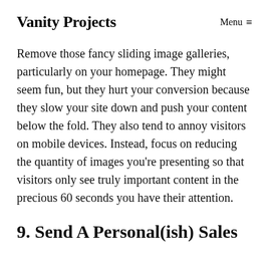Vanity Projects   Menu ≡
Remove those fancy sliding image galleries, particularly on your homepage. They might seem fun, but they hurt your conversion because they slow your site down and push your content below the fold. They also tend to annoy visitors on mobile devices. Instead, focus on reducing the quantity of images you're presenting so that visitors only see truly important content in the precious 60 seconds you have their attention.
9. Send A Personal(ish) Sales